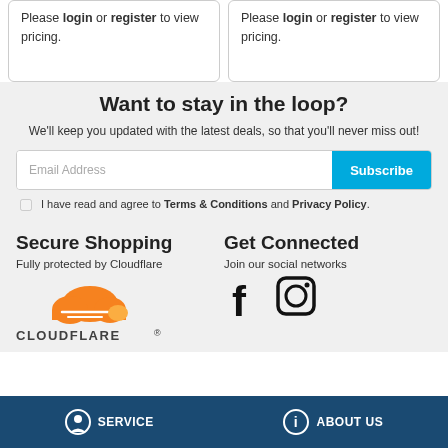Please login or register to view pricing.
Please login or register to view pricing.
Want to stay in the loop?
We'll keep you updated with the latest deals, so that you'll never miss out!
Email Address | Subscribe
I have read and agree to Terms & Conditions and Privacy Policy.
Secure Shopping
Fully protected by Cloudflare
[Figure (logo): Cloudflare logo with orange cloud and CLOUDFLARE text]
Get Connected
Join our social networks
[Figure (illustration): Facebook and Instagram social media icons]
SERVICE | ABOUT US